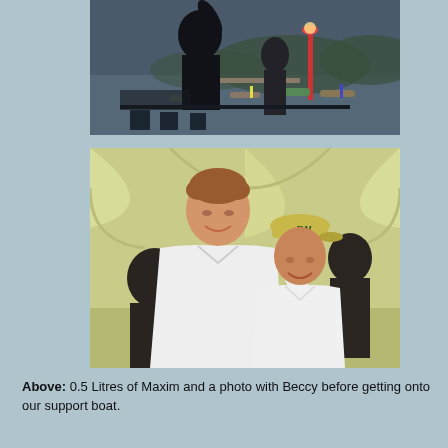[Figure (photo): Dark silhouetted scene of people near a waterfront with boats, colored flags and a red lamp post visible in the background at dusk or dawn.]
[Figure (photo): Two people smiling and posing together indoors. A man in a white t-shirt with a lanyard and badge on the left, and a woman in a white polo shirt wearing a yellow JW cap on the right.]
Above: 0.5 Litres of Maxim and a photo with Beccy before getting onto our support boat.